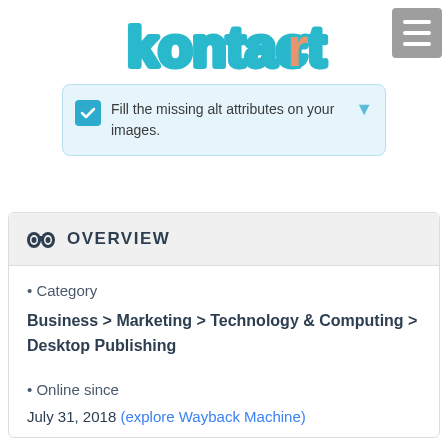[Figure (logo): Kontactr logo in teal/blue bubble letters with orange 'r']
Fill the missing alt attributes on your images.
OVERVIEW
Category
Business > Marketing > Technology & Computing > Desktop Publishing
Online since
July 31, 2018 (explore Wayback Machine)